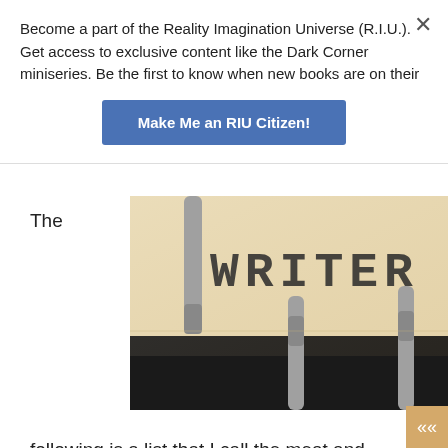Become a part of the Reality Imagination Universe (R.I.U.). Get access to exclusive content like the Dark Corner miniseries. Be the first to know when new books are on their
Make Me an RIU Citizen!
The
[Figure (photo): Close-up photograph of a vintage typewriter with the word WRITER stamped on paper, with metal type bars visible against a cream/beige paper background]
following is a list that I call the meat and